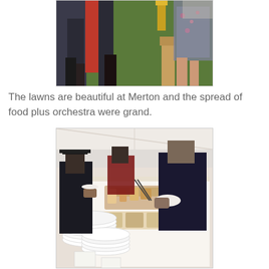[Figure (photo): Photo showing people's legs and feet standing on green grass at what appears to be a graduation ceremony, with academic robes visible including a red robe and a floral dress.]
The lawns are beautiful at Merton and the spread of food plus orchestra were grand.
[Figure (photo): Photo of a graduation reception buffet inside a marquee tent, with people in academic robes serving themselves food from a long white-clothed table laden with sandwiches and other foods, stacks of white plates visible in the foreground.]